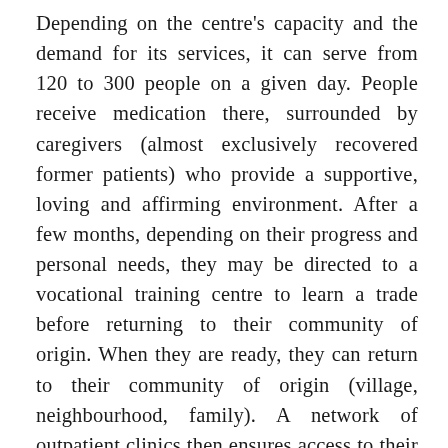Depending on the centre's capacity and the demand for its services, it can serve from 120 to 300 people on a given day. People receive medication there, surrounded by caregivers (almost exclusively recovered former patients) who provide a supportive, loving and affirming environment. After a few months, depending on their progress and personal needs, they may be directed to a vocational training centre to learn a trade before returning to their community of origin. When they are ready, they can return to their community of origin (village, neighbourhood, family). A network of outpatient clinics then ensures access to their prescribed medication regimen and to medical follow-up relatively close by. It is estimated that by 2022, altogether more than 130,000 men and women will have benefited from one or more of these services. Most of these people are now active in their